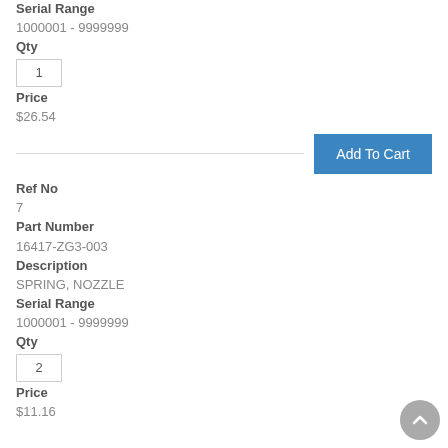Serial Range
1000001 - 9999999
Qty
1
Price
$26.54
[Figure (other): Add To Cart button]
Ref No
7
Part Number
16417-ZG3-003
Description
SPRING, NOZZLE
Serial Range
1000001 - 9999999
Qty
2
Price
$11.16